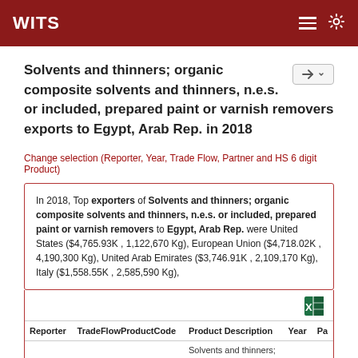WITS
Solvents and thinners; organic composite solvents and thinners, n.e.s. or included, prepared paint or varnish removers exports to Egypt, Arab Rep. in 2018
Change selection (Reporter, Year, Trade Flow, Partner and HS 6 digit Product)
In 2018, Top exporters of Solvents and thinners; organic composite solvents and thinners, n.e.s. or included, prepared paint or varnish removers to Egypt, Arab Rep. were United States ($4,765.93K , 1,122,670 Kg), European Union ($4,718.02K , 4,190,300 Kg), United Arab Emirates ($3,746.91K , 2,109,170 Kg), Italy ($1,558.55K , 2,585,590 Kg),
| Reporter | TradeFlowProductCode | Product Description | Year | Pa |
| --- | --- | --- | --- | --- |
|  |  | Solvents and thinners; |  |  |